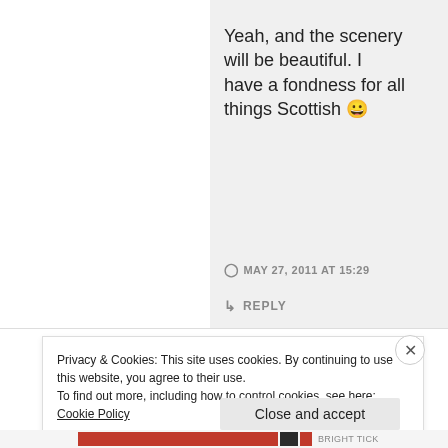Yeah, and the scenery will be beautiful. I have a fondness for all things Scottish 😀
MAY 27, 2011 AT 15:29
↳ REPLY
Privacy & Cookies: This site uses cookies. By continuing to use this website, you agree to their use. To find out more, including how to control cookies, see here: Cookie Policy
Close and accept
BRIGHT TICK